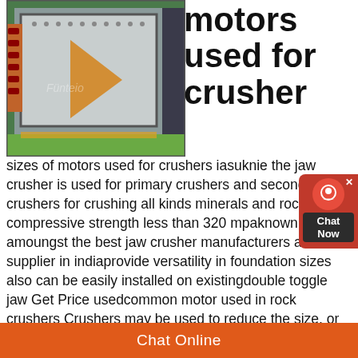[Figure (photo): Industrial jaw crusher machine photographed in a warehouse/factory setting with green floor, showing white and gray metalwork with orange triangular element.]
motors used for crusher
sizes of motors used for crushers iasuknie the jaw crusher is used for primary crushers and secondary crushers for crushing all kinds minerals and rocks with compressive strength less than 320 mpaknown amoungst the best jaw crusher manufacturers and supplier in indiaprovide versatility in foundation sizes also can be easily installed on existingdouble toggle jaw Get Price usedcommon motor used in rock crushers Crushers may be used to reduce the size, or change the form, of waste materials so they can be more easily disposed of or recycled, or to reduce the size of a solid mix of raw materials (as in rock ore), so that pieces of different composition can be differentiatodget
Chat Online